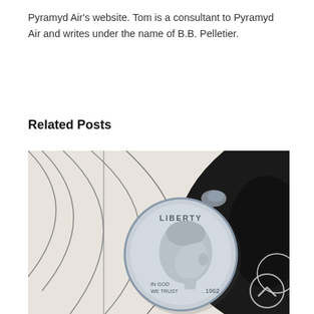Pyramyd Air's website. Tom is a consultant to Pyramyd Air and writes under the name of B.B. Pelletier.
Related Posts
[Figure (photo): A 1962 US Roosevelt dime coin placed on a shooting target showing bullet holes. The target has concentric circles and a black bullseye area on the right side. The coin shows 'LIBERTY', 'IN GOD WE TRUST', and '1962'. There is a circular arrow icon in the bottom right corner.]